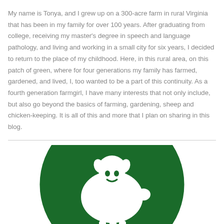My name is Tonya, and I grew up on a 300-acre farm in rural Virginia that has been in my family for over 100 years. After graduating from college, receiving my master's degree in speech and language pathology, and living and working in a small city for six years, I decided to return to the place of my childhood. Here, in this rural area, on this patch of green, where for four generations my family has farmed, gardened, and lived, I, too wanted to be a part of this continuity. As a fourth generation farmgirl, I have many interests that not only include, but also go beyond the basics of farming, gardening, sheep and chicken-keeping. It is all of this and more that I plan on sharing in this blog.
[Figure (logo): Green circular logo with a white sheep/farmgirl silhouette illustration in the center]